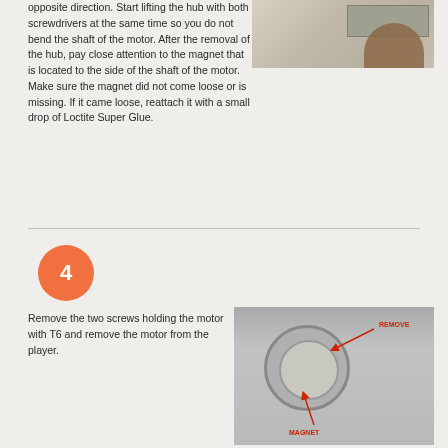opposite direction. Start lifting the hub with both screwdrivers at the same time so you do not bend the shaft of the motor. After the removal of the hub, pay close attention to the magnet that is located to the side of the shaft of the motor. Make sure the magnet did not come loose or is missing. If it came loose, reattach it with a small drop of Loctite Super Glue.
[Figure (photo): Photo of a hand using a screwdriver on a motor hub/metal component]
[Figure (photo): Photo of motor assembly showing the motor circle with arrows pointing to REMOVE and MAGNET labeled in red text]
Remove the two screws holding the motor with T6 and remove the motor from the player.